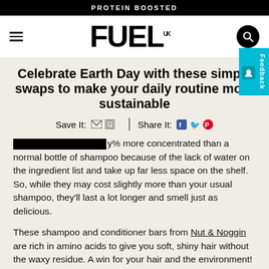PROTEIN BOOSTED
[Figure (logo): FUEL UK logo with hamburger menu and search icon]
Celebrate Earth Day with these simple swaps to make your daily routine more sustainable
Save It:  |  Share It:
y% more concentrated than a normal bottle of shampoo because of the lack of water on the ingredient list and take up far less space on the shelf. So, while they may cost slightly more than your usual shampoo, they'll last a lot longer and smell just as delicious.
These shampoo and conditioner bars from Nut & Noggin are rich in amino acids to give you soft, shiny hair without the waxy residue. A win for your hair and the environment!